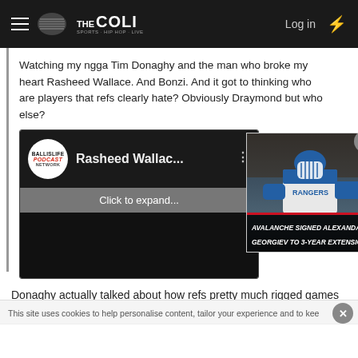THE COLI — Log in
Watching my ngga Tim Donaghy and the man who broke my heart Rasheed Wallace. And Bonzi. And it got to thinking who are players that refs clearly hate? Obviously Draymond but who else?
[Figure (screenshot): Embedded YouTube/podcast preview thumbnail showing Ballislife Podcast Network logo and title 'Rasheed Wallac...' with black video area below and 'Click to expand...' text]
[Figure (photo): Hockey player (goalie) in Rangers uniform with overlay text: AVALANCHE SIGNED ALEXANDAR GEORGIEV TO 3-YEAR EXTENSION]
Donaghy actually talked about how refs pretty much rigged games against Iverson.
This site uses cookies to help personalise content, tailor your experience and to keep...